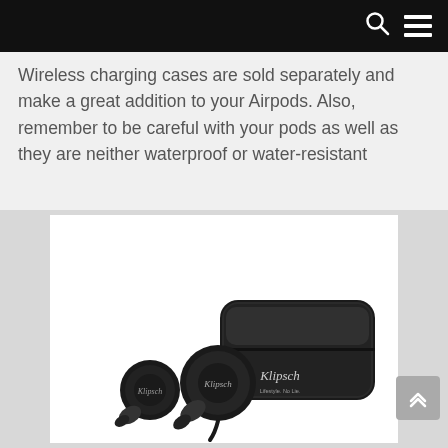Navigation bar with search and menu icons
Wireless charging cases are sold separately and make a great addition to your Airpods. Also, remember to be careful with your pods as well as they are neither waterproof or water-resistant
[Figure (photo): Black wireless earbuds (Klipsch branded) with black charging case, displayed on white background inside a gray-bordered image frame. Back-to-top button visible in bottom right corner.]